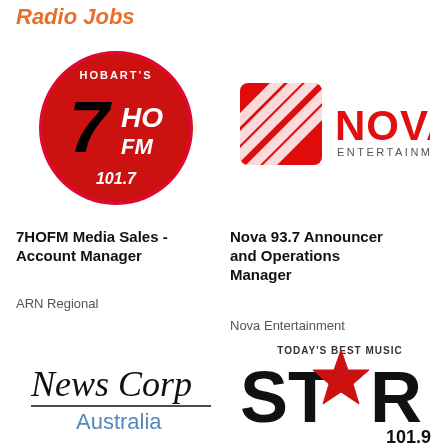Radio Jobs
[Figure (logo): 7HOFM 101.7 Hobart's radio station logo - circular red logo with black and white text]
[Figure (logo): Nova Entertainment logo - red square with diagonal lines and NOVA text]
7HOFM Media Sales - Account Manager
ARN Regional
Nova 93.7 Announcer and Operations Manager
Nova Entertainment
[Figure (logo): News Corp Australia logo in cursive script with underline and blue Australia text]
[Figure (logo): Star 101.9 Today's Best Music logo in black and red bold text with star graphic]